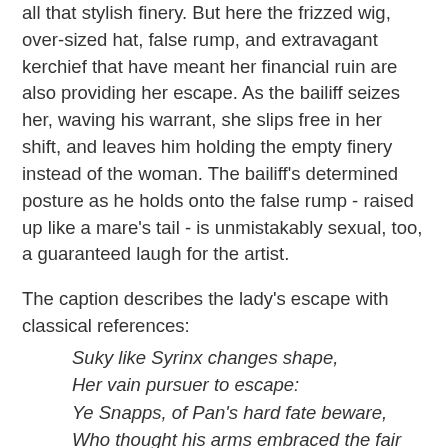all that stylish finery. But here the frizzed wig, over-sized hat, false rump, and extravagant kerchief that have meant her financial ruin are also providing her escape. As the bailiff seizes her, waving his warrant, she slips free in her shift, and leaves him holding the empty finery instead of the woman. The bailiff's determined posture as he holds onto the false rump - raised up like a mare's tail - is unmistakably sexual, too, a guaranteed laugh for the artist.
The caption describes the lady's escape with classical references:
Suky like Syrinx changes shape,
Her vain pursuer to escape:
Ye Snapps, of Pan's hard fate beware,
Who thought his arms embraced the fair
But found an empty Bum-case there.
In ancient mythology, Syrinx was a chaste nymph and follower of the goddess Artemis. Pursued by the overly-ardent (weren't they all?) god Pan, Syrinx begged the river nymphs for help. They obliged by transforming her into the hollow reeds beside the river, frustrating Pan. Eighteenth-